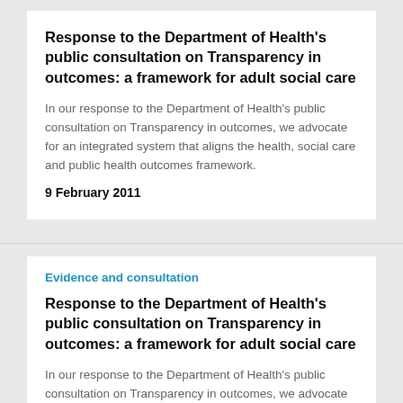Response to the Department of Health’s public consultation on Transparency in outcomes: a framework for adult social care
In our response to the Department of Health's public consultation on Transparency in outcomes, we advocate for an integrated system that aligns the health, social care and public health outcomes framework.
9 February 2011
Evidence and consultation
Response to the Department of Health’s public consultation on Transparency in outcomes: a framework for adult social care
In our response to the Department of Health's public consultation on Transparency in outcomes, we advocate for an integrated system that aligns the health, social care and public health outcomes framework.